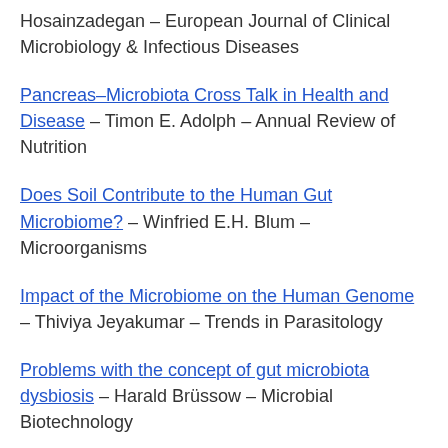Hosainzadegan – European Journal of Clinical Microbiology & Infectious Diseases
Pancreas–Microbiota Cross Talk in Health and Disease – Timon E. Adolph – Annual Review of Nutrition
Does Soil Contribute to the Human Gut Microbiome? – Winfried E.H. Blum – Microorganisms
Impact of the Microbiome on the Human Genome – Thiviya Jeyakumar – Trends in Parasitology
Problems with the concept of gut microbiota dysbiosis – Harald Brüssow – Microbial Biotechnology